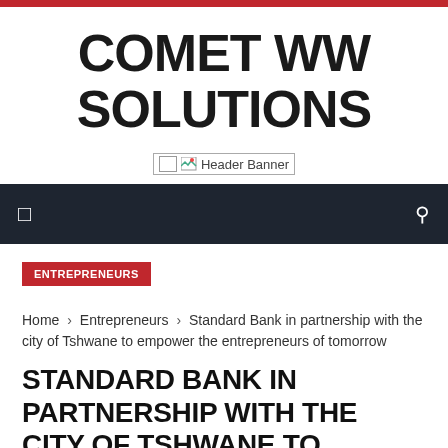COMET WW SOLUTIONS
[Figure (other): Header Banner image placeholder]
Navigation bar with menu and search icons
ENTREPRENEURS
Home › Entrepreneurs › Standard Bank in partnership with the city of Tshwane to empower the entrepreneurs of tomorrow
STANDARD BANK IN PARTNERSHIP WITH THE CITY OF TSHWANE TO